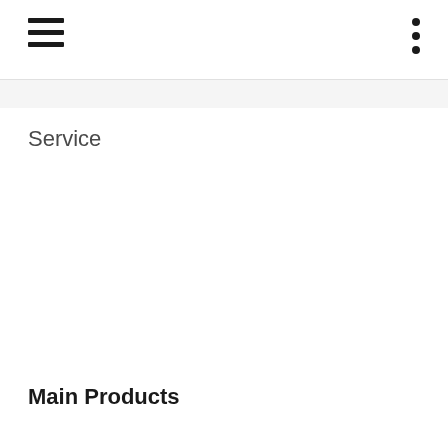hamburger menu and three-dot menu icons
Service
Main Products